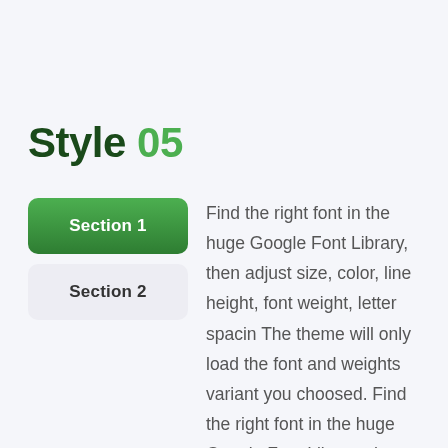Style 05
Section 1
Section 2
Find the right font in the huge Google Font Library, then adjust size, color, line height, font weight, letter spacin The theme will only load the font and weights variant you choosed. Find the right font in the huge Google Font Library, then adjust size, color, line height, font weight.